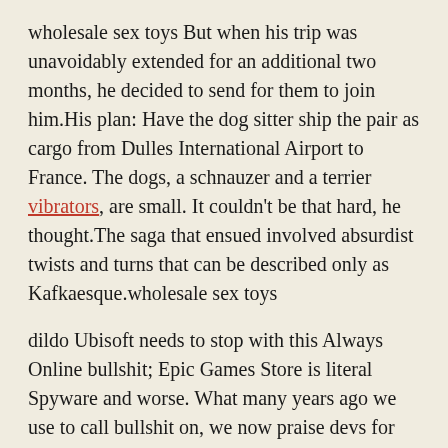wholesale sex toys But when his trip was unavoidably extended for an additional two months, he decided to send for them to join him.His plan: Have the dog sitter ship the pair as cargo from Dulles International Airport to France. The dogs, a schnauzer and a terrier vibrators, are small. It couldn't be that hard, he thought.The saga that ensued involved absurdist twists and turns that can be described only as Kafkaesque.wholesale sex toys
dildo Ubisoft needs to stop with this Always Online bullshit; Epic Games Store is literal Spyware and worse. What many years ago we use to call bullshit on, we now praise devs for doing. Even defending companies when they are obviously pulling highly illegal and shady practices.dildo
dog dildo Not everyone is cut out for the bar scene. You dont always find someone of quality going that